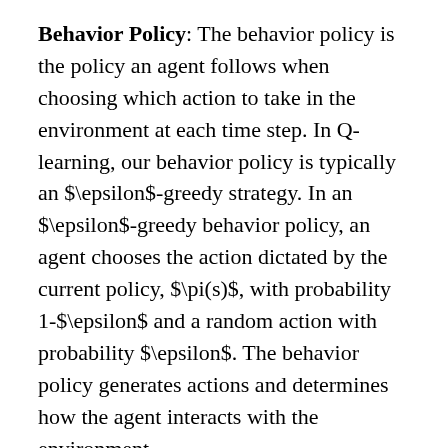Behavior Policy: The behavior policy is the policy an agent follows when choosing which action to take in the environment at each time step. In Q-learning, our behavior policy is typically an $\epsilon$-greedy strategy. In an $\epsilon$-greedy behavior policy, an agent chooses the action dictated by the current policy, $\pi(s)$, with probability 1-$\epsilon$ and a random action with probability $\epsilon$. The behavior policy generates actions and determines how the agent interacts with the environment.
Update Policy: The update policy is central to understanding the differences between...